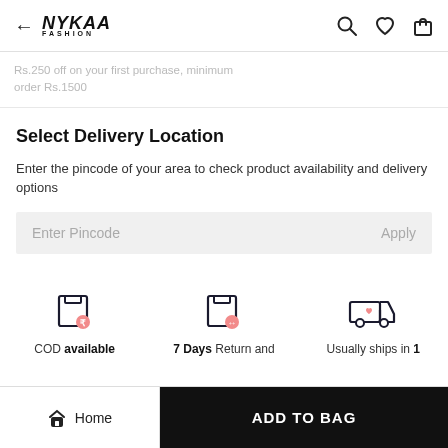← NYKAA FASHION [search] [wishlist] [bag]
Rs.250 off on your first purchase, minimum order Rs.1500
Select Delivery Location
Enter the pincode of your area to check product availability and delivery options
Enter Pincode   Apply
[Figure (infographic): Three feature icons: COD available, 7 Days Return and, Usually ships in 1]
COD available | 7 Days Return and | Usually ships in 1
Home | ADD TO BAG